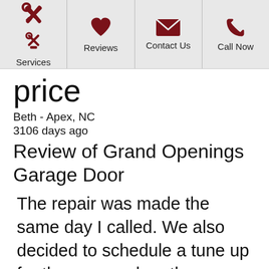Services | Reviews | Contact Us | Call Now
price
Beth - Apex, NC
3106 days ago
Review of Grand Openings Garage Door
The repair was made the same day I called. We also decided to schedule a tune up for the garage door the